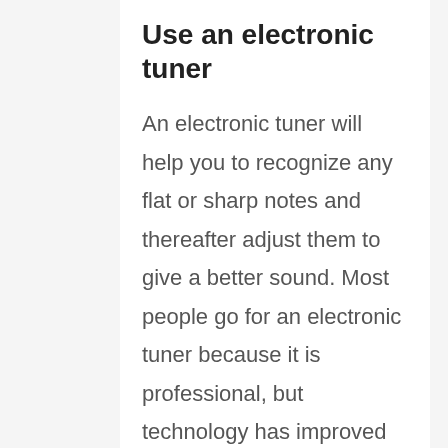Use an electronic tuner
An electronic tuner will help you to recognize any flat or sharp notes and thereafter adjust them to give a better sound. Most people go for an electronic tuner because it is professional, but technology has improved to the level that you can now tune a trumpet using your mobile phone.
If you opt for the use of a mobile phone to tune your trumpet, then